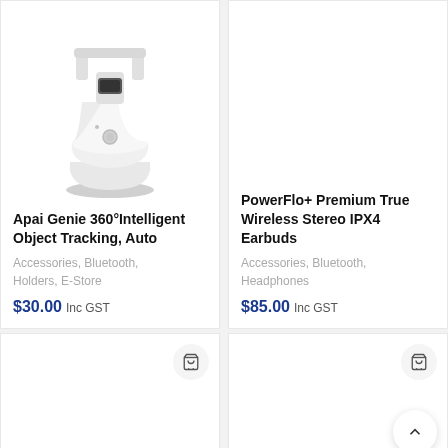[Figure (photo): White Apai Genie 360° object tracking device — a white bell-shaped smart phone holder with a rotating head, shown from front-slightly-above angle on white background.]
Apai Genie 360°Intelligent Object Tracking, Auto
Accessories, Bluetooth, Holders, E-Store
$30.00  Inc GST
PowerFlo+ Premium True Wireless Stereo IPX4 Earbuds
Accessories, Bluetooth, Headphones
$85.00  Inc GST
Shop   Cart   My account